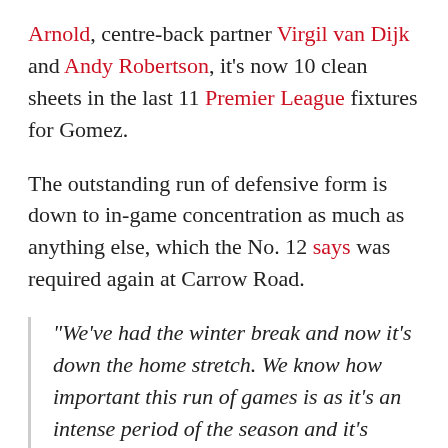Arnold, centre-back partner Virgil van Dijk and Andy Robertson, it's now 10 clean sheets in the last 11 Premier League fixtures for Gomez.
The outstanding run of defensive form is down to in-game concentration as much as anything else, which the No. 12 says was required again at Carrow Road.
“We’ve had the winter break and now it’s down the home stretch. We know how important this run of games is as it’s an intense period of the season and it’s crunch time really.
“It’s the most important part and you just build the foundation from the start of the season to